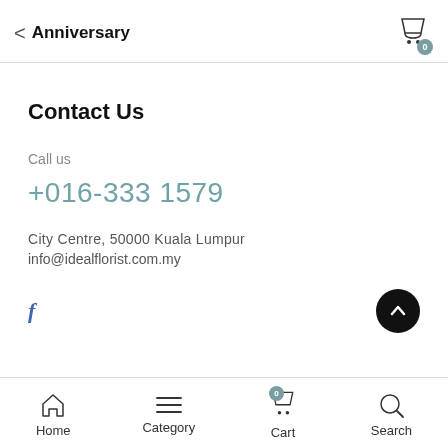< Anniversary
Contact Us
Call us
+016-333 1579
City Centre, 50000 Kuala Lumpur
info@idealflorist.com.my
[Figure (other): Facebook icon (f) and scroll-to-top button (dark circle with up chevron)]
Home  Category  Cart  Search